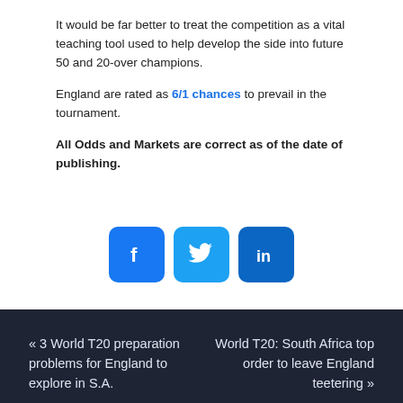It would be far better to treat the competition as a vital teaching tool used to help develop the side into future 50 and 20-over champions.
England are rated as 6/1 chances to prevail in the tournament.
All Odds and Markets are correct as of the date of publishing.
[Figure (other): Social media share icons: Facebook, Twitter, LinkedIn]
« 3 World T20 preparation problems for England to explore in S.A.
World T20: South Africa top order to leave England teetering »
Author
Matt Wiggins